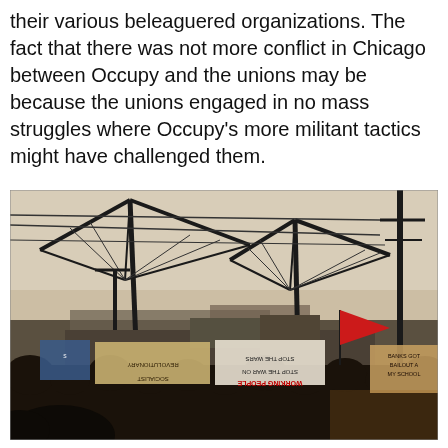their various beleaguered organizations. The fact that there was not more conflict in Chicago between Occupy and the unions may be because the unions engaged in no mass struggles where Occupy's more militant tactics might have challenged them.
[Figure (photo): A crowd of protesters marching at dusk in front of large industrial port cranes. Protesters hold signs including 'STOP THE WARS', 'STOP THE WAR ON WORKING PEOPLE', and others. A red flag is visible. The scene appears to be an Occupy movement port blockade action.]